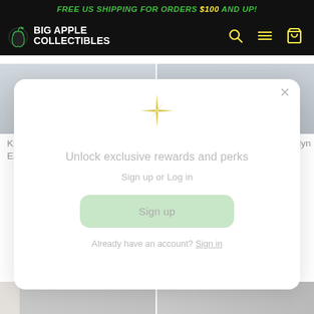FREE US SHIPPING FOR ORDERS $100 AND UP!
[Figure (logo): Big Apple Collectibles logo with apple icon and site navigation icons (search, menu, cart) on dark background]
King Features: Defenders of the Earth NECA Mandrake the...
Gargoyles NECA Ultimate Brooklyn 7in Scale Action...
[Figure (screenshot): Modal popup over website content showing rewards sign-up with sparkle icon, 'Unlock exclusive rewards and perks' heading, 'Sign up or Log in' subtitle, green Sign up button, and 'Already have an account? Sign in' link]